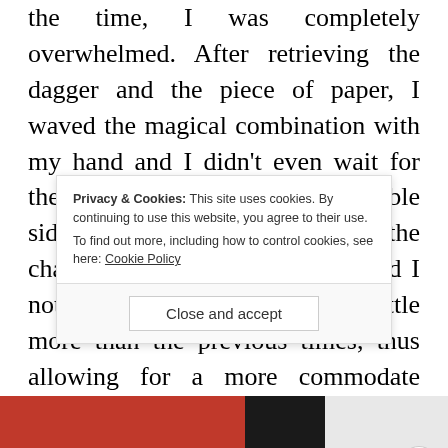the time, I was completely overwhelmed. After retrieving the dagger and the piece of paper, I waved the magical combination with my hand and I didn't even wait for the wall to completely crumble sideways... Only after sitting on the chair and relaxing for a while, did I notice that the wall crumbled a little more than the previous times, thus allowing for a more commodate passage. The thought of my improvement did not ease any of my worries t a
Privacy & Cookies: This site uses cookies. By continuing to use this website, you agree to their use.
To find out more, including how to control cookies, see here: Cookie Policy
Close and accept